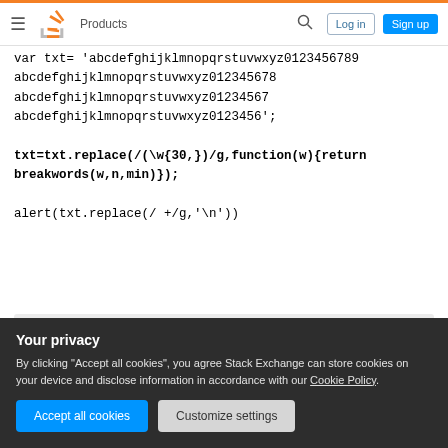Stack Overflow — Products | Log in | Sign up
var txt= 'abcdefghijklmnopqrstuvwxyz0123456789
abcdefghijklmnopqrstuvwxyz012345678
abcdefghijklmnopqrstuvwxyz01234567
abcdefghijklmnopqrstuvwxyz0123456';
txt=txt.replace(/(\w{30,})/g,function(w){return breakwords(w,n,min)});
alert(txt.replace(/ +/g,'\n'))
/*  returned value: (String)
abcdefghijklmnopqrstuvwxyz0123
Your privacy
By clicking "Accept all cookies", you agree Stack Exchange can store cookies on your device and disclose information in accordance with our Cookie Policy.
Accept all cookies
Customize settings